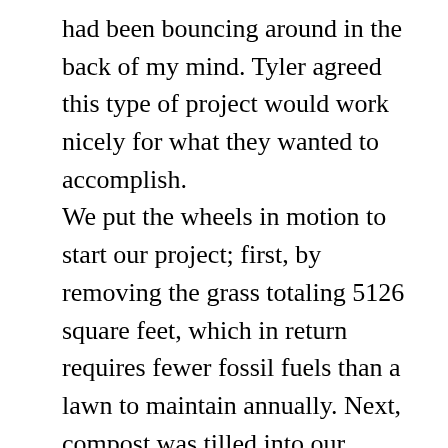had been bouncing around in the back of my mind. Tyler agreed this type of project would work nicely for what they wanted to accomplish.

We put the wheels in motion to start our project; first, by removing the grass totaling 5126 square feet, which in return requires fewer fossil fuels than a lawn to maintain annually. Next, compost was tilled into our existing soil to create more water holding capacity, along with a more desirable environment for our plants to grow. We then planted all native plants. They will require less water than non-native plants, and provide pollinating opportunities for insects. This area will now provide our community with more pollinating opportunities, water run off